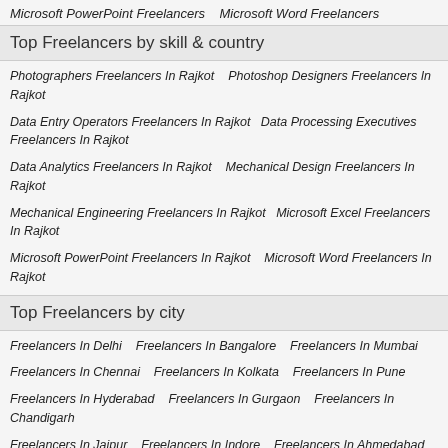Microsoft PowerPoint Freelancers    Microsoft Word Freelancers
Top Freelancers by skill & country
Photographers Freelancers In Rajkot    Photoshop Designers Freelancers In Rajkot
Data Entry Operators Freelancers In Rajkot    Data Processing Executives Freelancers In Rajkot
Data Analytics Freelancers In Rajkot    Mechanical Design Freelancers In Rajkot
Mechanical Engineering Freelancers In Rajkot    Microsoft Excel Freelancers In Rajkot
Microsoft PowerPoint Freelancers In Rajkot    Microsoft Word Freelancers In Rajkot
Top Freelancers by city
Freelancers In Delhi    Freelancers In Bangalore    Freelancers In Mumbai
Freelancers In Chennai    Freelancers In Kolkata    Freelancers In Pune
Freelancers In Hyderabad    Freelancers In Gurgaon    Freelancers In Chandigarh
Freelancers In Jaipur    Freelancers In Indore    Freelancers In Ahmedabad
Freelancers In Noida    Freelancers In Bengaluru    Freelancers In Surat